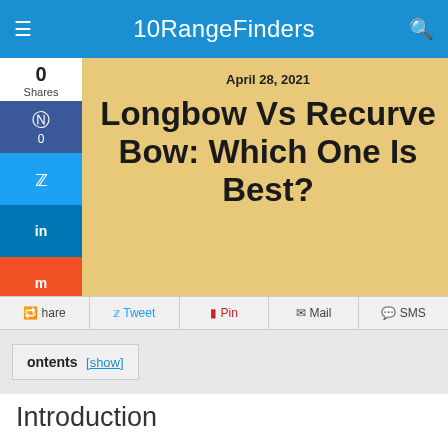10RangeFinders
0
Shares
April 28, 2021
Longbow Vs Recurve Bow: Which One Is Best?
Share | Tweet | Pin | Mail | SMS
ontents [show]
Introduction